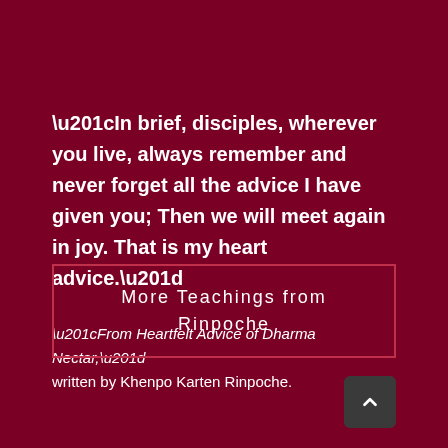“In brief, disciples, wherever you live, always remember and never forget all the advice I have given you; Then we will meet again in joy. That is my heart advice.”
“From Heartfelt Advice of Dharma Nectar,” written by Khenpo Karten Rinpoche.
More Teachings from Rinpoche